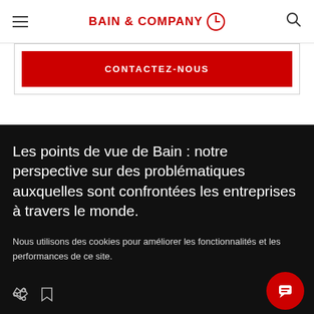BAIN & COMPANY
CONTACTEZ-NOUS
Les points de vue de Bain : notre perspective sur des problématiques auxquelles sont confrontées les entreprises à travers le monde.
Nous utilisons des cookies pour améliorer les fonctionnalités et les performances de ce site.
AUTORISER TOUS LES COOKIES